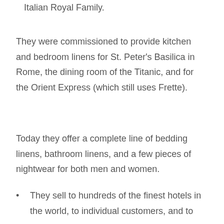Italian Royal Family.
They were commissioned to provide kitchen and bedroom linens for St. Peter's Basilica in Rome, the dining room of the Titanic, and for the Orient Express (which still uses Frette).
Today they offer a complete line of bedding linens, bathroom linens, and a few pieces of nightwear for both men and women.
They sell to hundreds of the finest hotels in the world, to individual customers, and to